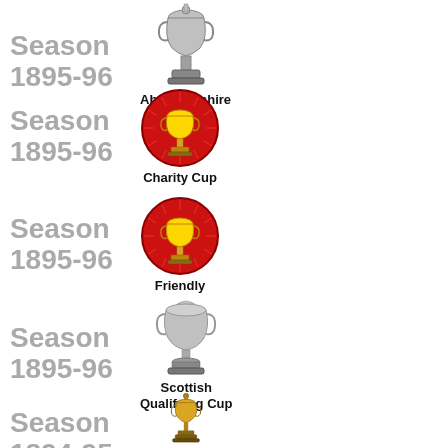[Figure (illustration): Season 1895-96 Aberdeenshire Cup trophy (silver ornate cup)]
[Figure (illustration): Season 1895-96 Charity Cup (gold trophy on red circle badge)]
[Figure (illustration): Season 1895-96 Friendly (gold trophy on red circle badge)]
[Figure (illustration): Season 1895-96 Scottish Qualifying Cup (silver ornate cup)]
[Figure (illustration): Season 1894-95 Aberdeenshire Cup trophy (ornate cup, partially visible)]